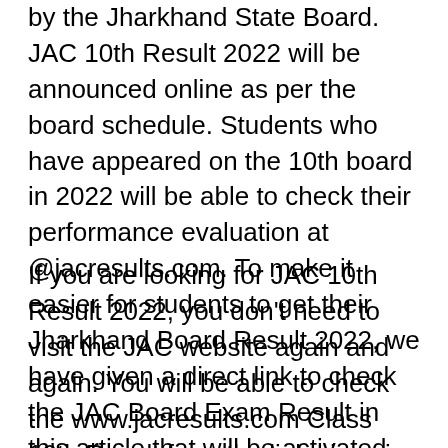by the Jharkhand State Board. JAC 10th Result 2022 will be announced online as per the board schedule. Students who have appeared on the 10th board in 2022 will be able to check their performance evaluation at @jacresults.com. To make it easier for students to get their Jharkhand Board Result 2022, we have given a direct link to check the JAC Board Exam Result in this article that will be activated soon.
If you are looking for JAC 10th Result 2022, you don't need to visit the JAC website again and again. You will be able to check the www.jacresults.com Class 10th Result from the link given in the table below. We have also compiled some essential information related to Class 10th board exam results in